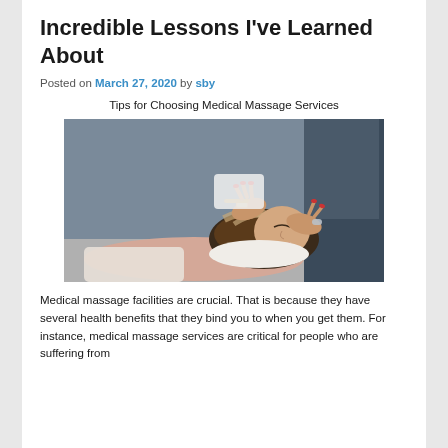Incredible Lessons I've Learned About
Posted on March 27, 2020 by sby
Tips for Choosing Medical Massage Services
[Figure (photo): A woman lying down receiving a facial or head massage treatment from a therapist whose hands are visible. The woman has highlighted hair and appears relaxed with eyes closed. The setting appears to be a clinical or spa environment.]
Medical massage facilities are crucial. That is because they have several health benefits that they bind you to when you get them. For instance, medical massage services are critical for people who are suffering from